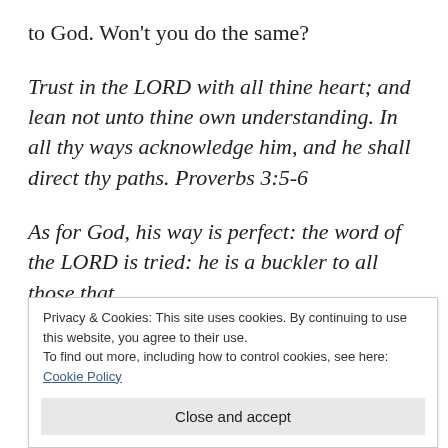to God. Won’t you do the same?
Trust in the LORD with all thine heart; and lean not unto thine own understanding. In all thy ways acknowledge him, and he shall direct thy paths. Proverbs 3:5-6
As for God, his way is perfect: the word of the LORD is tried: he is a buckler to all those that
Privacy & Cookies: This site uses cookies. By continuing to use this website, you agree to their use.
To find out more, including how to control cookies, see here:
Cookie Policy
Close and accept